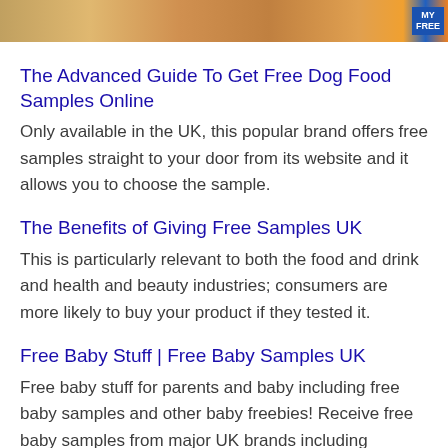[Figure (photo): Banner image of food items with a blue and orange badge in the top right corner reading MY FREE]
The Advanced Guide To Get Free Dog Food Samples Online
Only available in the UK, this popular brand offers free samples straight to your door from its website and it allows you to choose the sample.
The Benefits of Giving Free Samples UK
This is particularly relevant to both the food and drink and health and beauty industries; consumers are more likely to buy your product if they tested it.
Free Baby Stuff | Free Baby Samples UK
Free baby stuff for parents and baby including free baby samples and other baby freebies! Receive free baby samples from major UK brands including Huggies, Drynites, Pampers, Johnsons and more. Get Free